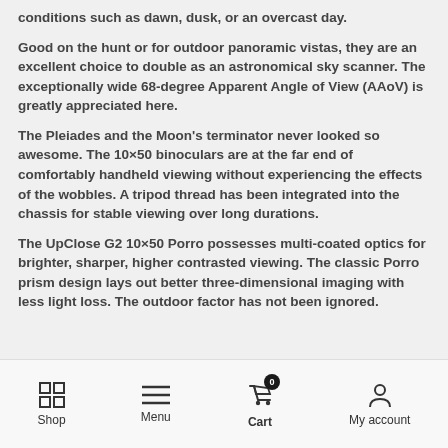conditions such as dawn, dusk, or an overcast day.
Good on the hunt or for outdoor panoramic vistas, they are an excellent choice to double as an astronomical sky scanner. The exceptionally wide 68-degree Apparent Angle of View (AAoV) is greatly appreciated here.
The Pleiades and the Moon's terminator never looked so awesome. The 10×50 binoculars are at the far end of comfortably handheld viewing without experiencing the effects of the wobbles. A tripod thread has been integrated into the chassis for stable viewing over long durations.
The UpClose G2 10×50 Porro possesses multi-coated optics for brighter, sharper, higher contrasted viewing. The classic Porro prism design lays out better three-dimensional imaging with less light loss. The outdoor factor has not been ignored.
Shop  Menu  Cart 0  My account